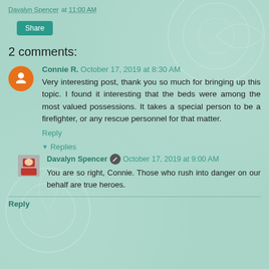Davalyn Spencer at 11:00 AM
Share
2 comments:
Connie R. October 17, 2019 at 8:30 AM
Very interesting post, thank you so much for bringing up this topic. I found it interesting that the beds were among the most valued possessions. It takes a special person to be a firefighter, or any rescue personnel for that matter.
Reply
Replies
Davalyn Spencer October 17, 2019 at 9:00 AM
You are so right, Connie. Those who rush into danger on our behalf are true heroes.
Reply